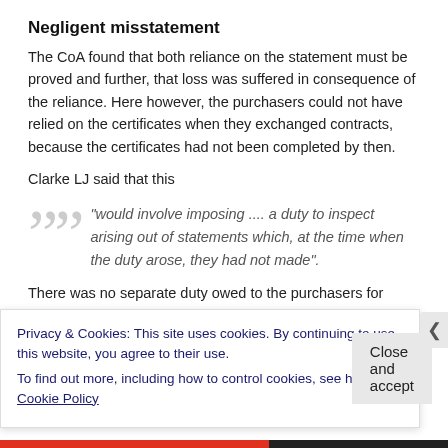Negligent misstatement
The CoA found that both reliance on the statement must be proved and further, that loss was suffered in consequence of the reliance. Here however, the purchasers could not have relied on the certificates when they exchanged contracts, because the certificates had not been completed by then.
Clarke LJ said that this
“would involve imposing .... a duty to inspect arising out of statements which, at the time when the duty arose, they had not made”.
There was no separate duty owed to the purchasers for
Privacy & Cookies: This site uses cookies. By continuing to use this website, you agree to their use.
To find out more, including how to control cookies, see here: Cookie Policy